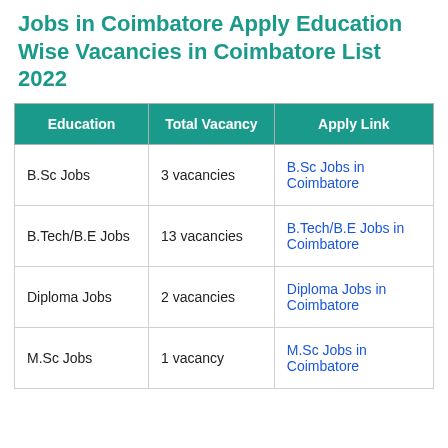Jobs in Coimbatore Apply Education Wise Vacancies in Coimbatore List 2022
| Education | Total Vacancy | Apply Link |
| --- | --- | --- |
| B.Sc Jobs | 3 vacancies | B.Sc Jobs in Coimbatore |
| B.Tech/B.E Jobs | 13 vacancies | B.Tech/B.E Jobs in Coimbatore |
| Diploma Jobs | 2 vacancies | Diploma Jobs in Coimbatore |
| M.Sc Jobs | 1 vacancy | M.Sc Jobs in Coimbatore |